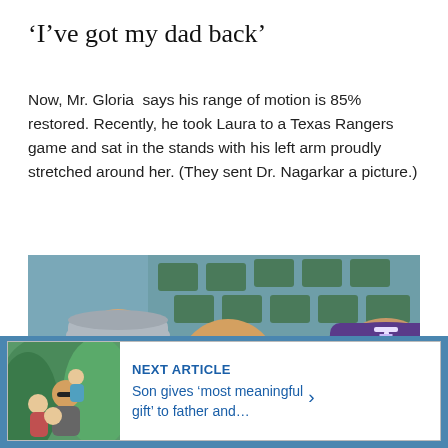‘I’ve got my dad back’
Now, Mr. Gloria  says his range of motion is 85% restored. Recently, he took Laura to a Texas Rangers game and sat in the stands with his left arm proudly stretched around her. (They sent Dr. Nagarkar a picture.)
[Figure (photo): A man with sunglasses smiling at a baseball stadium flanked by two younger people, one wearing a Texas Rangers purple cap.]
[Figure (photo): A family photo showing a man with sunglasses holding children, used as thumbnail for next article.]
NEXT ARTICLE
Son gives ‘most meaningful gift’ to father and…